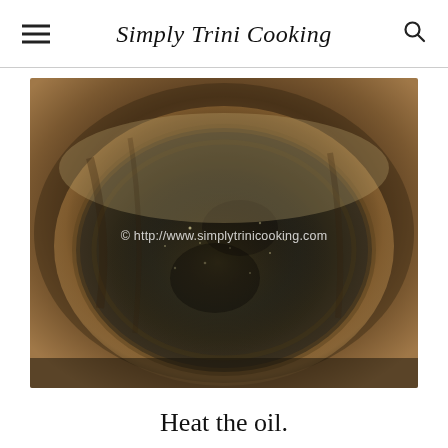Simply Trini Cooking
[Figure (photo): Top-down view of a large dark cooking pot with oil being heated, showing a blackened and seasoned interior with oil glistening at the bottom. Watermark reads: © http://www.simplytrinicooking.com]
Heat the oil.